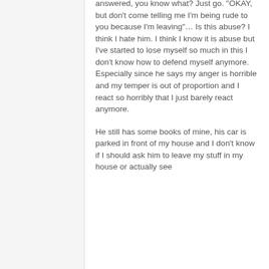answered, you know what? Just go. “OKAY, but don’t come telling me I’m being rude to you because I’m leaving”… Is this abuse? I think I hate him. I think I know it is abuse but I’ve started to lose myself so much in this I don’t know how to defend myself anymore. Especially since he says my anger is horrible and my temper is out of proportion and I react so horribly that I just barely react anymore.
He still has some books of mine, his car is parked in front of my house and I don’t know if I should ask him to leave my stuff in my house or actually see